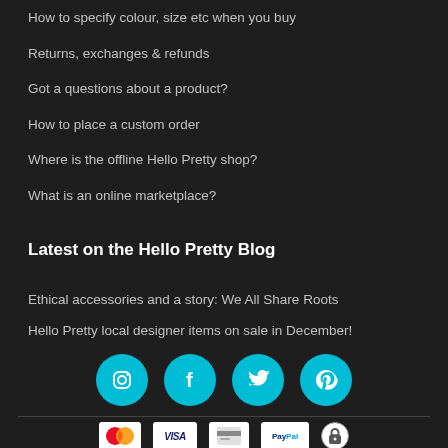How to specify colour, size etc when you buy
Returns, exchanges & refunds
Got a questions about a product?
How to place a custom order
Where is the offline Hello Pretty shop?
What is an online marketplace?
Latest on the Hello Pretty Blog
Ethical accessories and a story: We All Share Roots
Hello Pretty local designer items on sale in December!
[Figure (infographic): Four teal circular social media icons in a row: Instagram, Facebook, Twitter, Pinterest]
[Figure (infographic): Payment method icons: Mastercard, Visa, an unidentified card, PayPal, and a security lock badge]